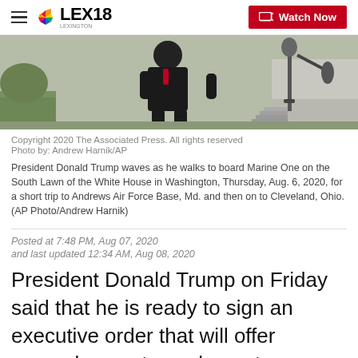LEX18 | Watch Now
[Figure (photo): Person in dark suit walking outdoors, back to camera, with microphone stand visible to the right and steps/building in background]
Copyright 2020 The Associated Press. All rights reserved
Photo by: Andrew Harnik/AP
President Donald Trump waves as he walks to board Marine One on the South Lawn of the White House in Washington, Thursday, Aug. 6, 2020, for a short trip to Andrews Air Force Base, Md. and then on to Cleveland, Ohio. (AP Photo/Andrew Harnik)
Posted at 7:48 PM, Aug 07, 2020
and last updated 12:34 AM, Aug 08, 2020
President Donald Trump on Friday said that he is ready to sign an executive order that will offer unemployment supplements, eviction protection, and a payroll tax holiday through the end of the year. Trump